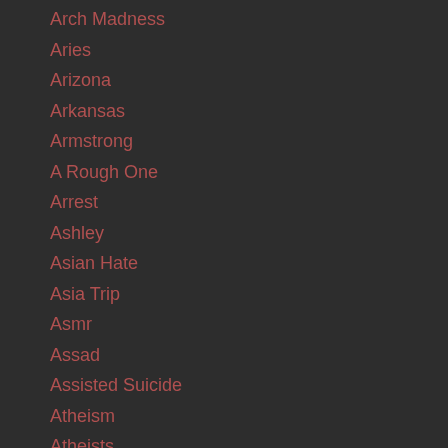Arch Madness
Aries
Arizona
Arkansas
Armstrong
A Rough One
Arrest
Ashley
Asian Hate
Asia Trip
Asmr
Assad
Assisted Suicide
Atheism
Atheists
A Thorn In My Side
Attack
Attorney
Attorney General
August